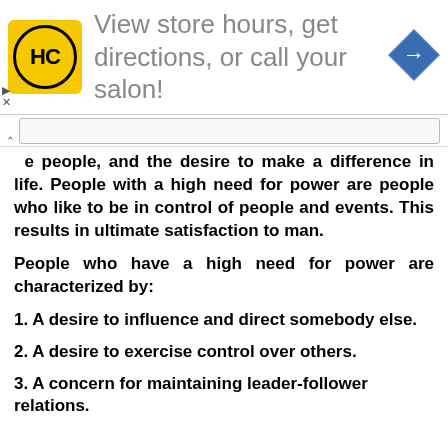[Figure (infographic): Advertisement banner for HC salon with yellow logo, text 'View store hours, get directions, or call your salon!', and a blue navigation arrow icon]
ge people, and the desire to make a difference in life. People with a high need for power are people who like to be in control of people and events. This results in ultimate satisfaction to man.
People who have a high need for power are characterized by:
1. A desire to influence and direct somebody else.
2. A desire to exercise control over others.
3. A concern for maintaining leader-follower relations.